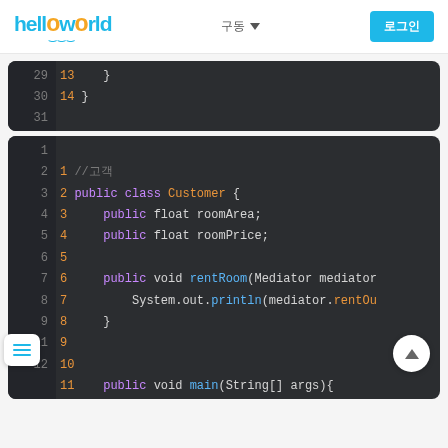helloworld
[Figure (screenshot): Code editor showing Java code, first block with lines 29-31 (source lines 13-14: closing braces of a class)]
[Figure (screenshot): Code editor showing Java code, second block with lines 1-12 (source lines 1-11): Customer class with roomArea, roomPrice fields, rentRoom method with System.out.println, and beginning of main method]